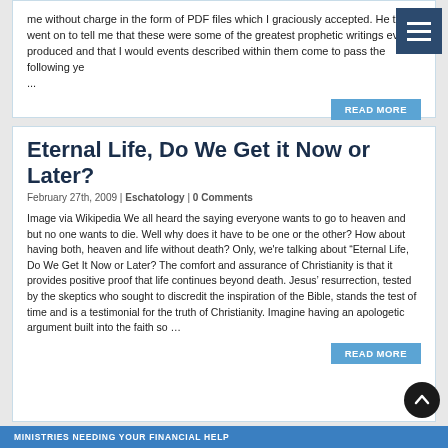me without charge in the form of PDF files which I graciously accepted. He then went on to tell me that these were some of the greatest prophetic writings ever produced and that I would events described within them come to pass the following ye ...
READ MORE
Eternal Life, Do We Get it Now or Later?
February 27th, 2009 | Eschatology | 0 Comments
Image via Wikipedia We all heard the saying everyone wants to go to heaven and but no one wants to die. Well why does it have to be one or the other? How about having both, heaven and life without death? Only, we're talking about “Eternal Life, Do We Get It Now or Later? The comfort and assurance of Christianity is that it provides positive proof that life continues beyond death. Jesus’ resurrection, tested by the skeptics who sought to discredit the inspiration of the Bible, stands the test of time and is a testimonial for the truth of Christianity. Imagine having an apologetic argument built into the faith so ...
READ MORE
MINISTRIES NEEDING YOUR FINANCIAL HELP